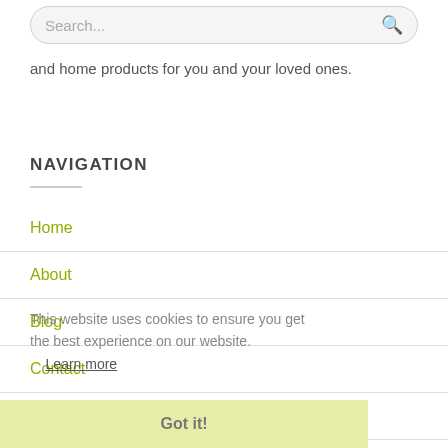Search...
and home products for you and your loved ones.
NAVIGATION
Home
About
Blog
Contact
FAQ
This website uses cookies to ensure you get the best experience on our website. Learn more
SHOPPING
Got it!